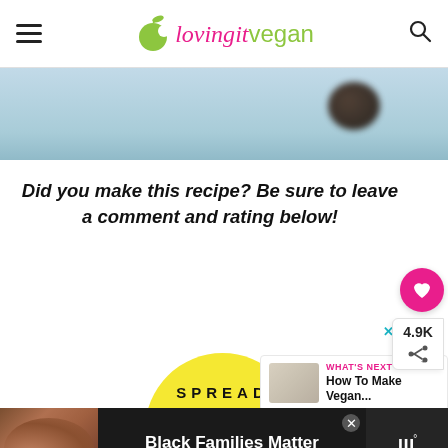lovingitvegan
[Figure (photo): Blurred light blue background with a dark blurred object (possibly a chocolate truffle) in the upper right]
Did you make this recipe? Be sure to leave a comment and rating below!
[Figure (other): Heart/like button (pink circle with heart icon) and share button with count 4.9K]
[Figure (infographic): SPREAD ACCURATE text on yellow semi-circle advertisement]
[Figure (infographic): WHAT'S NEXT - How To Make Vegan... with thumbnail]
[Figure (photo): Bottom banner ad: Black Families Matter with photo of people and Merriam-Webster logo]